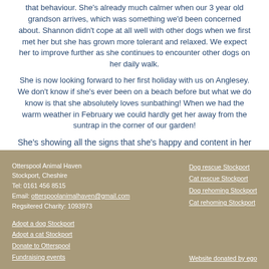that behaviour. She's already much calmer when our 3 year old grandson arrives, which was something we'd been concerned about. Shannon didn't cope at all well with other dogs when we first met her but she has grown more tolerant and relaxed. We expect her to improve further as she continues to encounter other dogs on her daily walk.
She is now looking forward to her first holiday with us on Anglesey. We don't know if she's ever been on a beach before but what we do know is that she absolutely loves sunbathing! When we had the warm weather in February we could hardly get her away from the suntrap in the corner of our garden!
She's showing all the signs that she's happy and content in her 'forever home' and we love having her as part of the family.
Otterspool Animal Haven
Stockport, Cheshire
Tel: 0161 456 8515
Email: otterspoolanimalhaven@gmail.com
Regsitered Charity: 1093973

Dog rescue Stockport
Cat rescue Stockport
Dog rehoming Stockport
Cat rehoming Stockport

Adopt a dog Stockport
Adopt a cat Stockport
Donate to Otterspool
Fundraising events

Website donated by ego